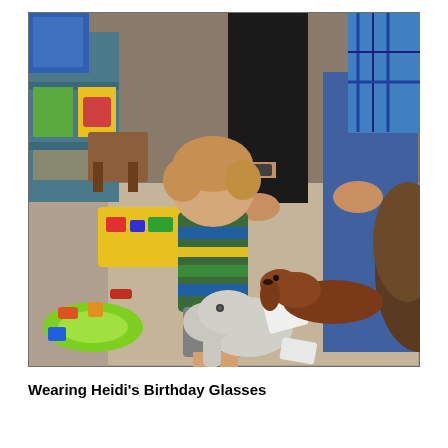[Figure (photo): Indoor photo showing a young toddler boy in a striped shirt standing on carpet, looking down at a stuffed elephant toy and a brown dachshund dog on the floor. Adults in jeans are visible in the background. Colorful children's toys and shelving are visible on the left side of the room.]
Wearing Heidi's Birthday Glasses